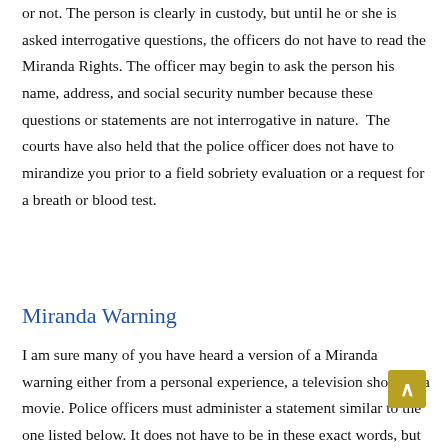or not. The person is clearly in custody, but until he or she is asked interrogative questions, the officers do not have to read the Miranda Rights. The officer may begin to ask the person his name, address, and social security number because these questions or statements are not interrogative in nature.  The courts have also held that the police officer does not have to mirandize you prior to a field sobriety evaluation or a request for a breath or blood test.
Miranda Warning
I am sure many of you have heard a version of a Miranda warning either from a personal experience, a television show, or a movie. Police officers must administer a statement similar to the one listed below. It does not have to be in these exact words, but it must reasonably convey to a